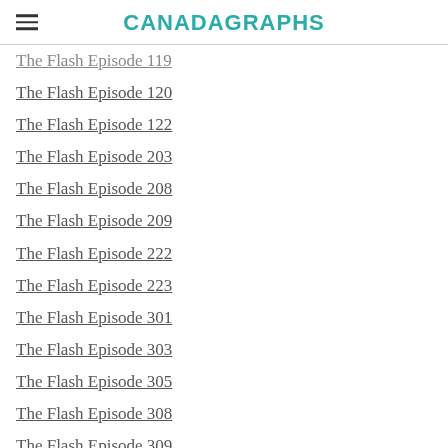CANADAGRAPHS
The Flash Episode 119
The Flash Episode 120
The Flash Episode 122
The Flash Episode 203
The Flash Episode 208
The Flash Episode 209
The Flash Episode 222
The Flash Episode 223
The Flash Episode 301
The Flash Episode 303
The Flash Episode 305
The Flash Episode 308
The Flash Episode 309
The Flash Episode 323
The Flash Episode 401